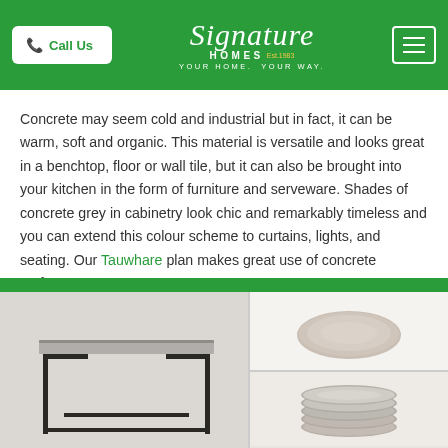Call Us | Signature Homes — YOUR HOME. YOUR WAY.
Concrete may seem cold and industrial but in fact, it can be warm, soft and organic. This material is versatile and looks great in a benchtop, floor or wall tile, but it can also be brought into your kitchen in the form of furniture and serveware. Shades of concrete grey in cabinetry look chic and remarkably timeless and you can extend this colour scheme to curtains, lights, and seating. Our Tauwhare plan makes great use of concrete surfaces.
[Figure (photo): Left: A concrete-topped console table with black metal frame legs on a light background. Top right: A single round pale grey/beige ceramic plate on white background. Bottom right: A stack of round grey ceramic plates.]